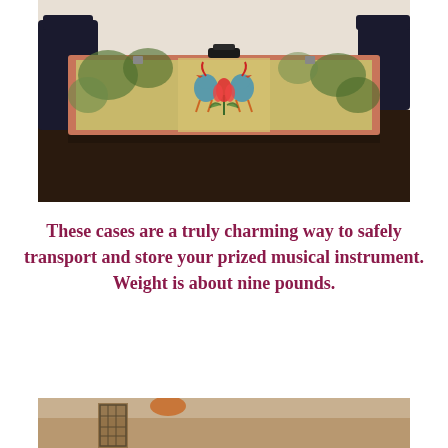[Figure (photo): A decorative rectangular instrument case with a pink/red border, featuring folk art painting of two birds facing each other over a tulip flower, on a yellow-green textured background. The case has a handle on top and is sitting on a dark wooden table. Two dark chairs are visible in the background.]
These cases are a truly charming way to safely transport and store your prized musical instrument. Weight is about nine pounds.
[Figure (photo): Partial view of a room interior, bottom portion of a second photo showing a brown/tan object and furniture.]